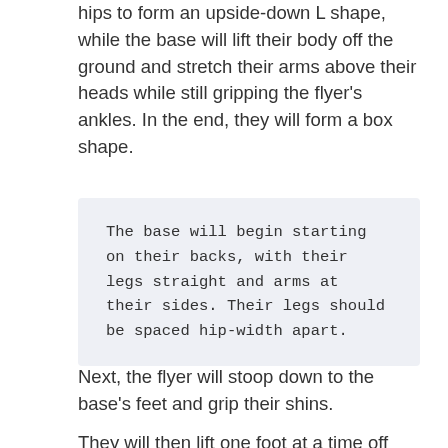Simultaneously, the flyer will begin to elevate their hips to form an upside-down L shape, while the base will lift their body off the ground and stretch their arms above their heads while still gripping the flyer's ankles. In the end, they will form a box shape.
The base will begin starting on their backs, with their legs straight and arms at their sides. Their legs should be spaced hip-width apart.
Next, the flyer will stoop down to the base's feet and grip their shins.
They will then lift one foot at a time off the ground